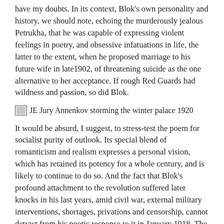have my doubts. In its context, Blok's own personality and history, we should note, echoing the murderously jealous Petrukha, that he was capable of expressing violent feelings in poetry, and obsessive infatuations in life, the latter to the extent, when he proposed marriage to his future wife in late1902, of threatening suicide as the one alternative to her acceptance. If rough Red Guards had wildness and passion, so did Blok.
[Figure (illustration): Broken image placeholder followed by caption text: JE Jury Annenkov storming the winter palace 1920]
It would be absurd, I suggest, to stress-test the poem for socialist purity of outlook. Its special blend of romanticism and realism expresses a personal vision, which has retained its potency for a whole century, and is likely to continue to do so. And the fact that Blok's profound attachment to the revolution suffered later knocks in his last years, amid civil war, external military interventions, shortages, privations and censorship, cannot detract from his poetic response to it in January 1918. The Twelve evidences the truth of words that had once come from his pen: 'The greatest thing that lyrical poetry can achieve is to enrich the soul and complicate